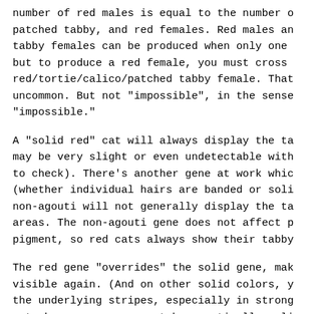number of red males is equal to the number of patched tabby, and red females. Red males and tabby females can be produced when only one but to produce a red female, you must cross red/tortie/calico/patched tabby female. That uncommon. But not "impossible", in the sense "impossible."
A "solid red" cat will always display the tabby may be very slight or even undetectable with to check). There's another gene at work which (whether individual hairs are banded or solid non-agouti will not generally display the tabby areas. The non-agouti gene does not affect pigment, so red cats always show their tabby
The red gene "overrides" the solid gene, making visible again. (And on other solid colors, y the underlying stripes, especially in strong cat shows may or may not be genetically solid